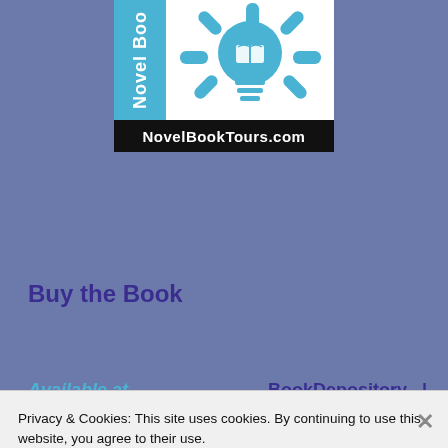[Figure (logo): NovelBookTours.com logo with lightbulb icon and blue vertical text bar reading 'Novel Boo' (cropped), white background with blue lightbulb illustration, black bottom bar with white text 'NovelBookTours.com']
Buy the Book
Available at
BookDepository   |
Privacy & Cookies: This site uses cookies. By continuing to use this website, you agree to their use.
To find out more, including how to control cookies, see here: Cookie Policy
Close and accept